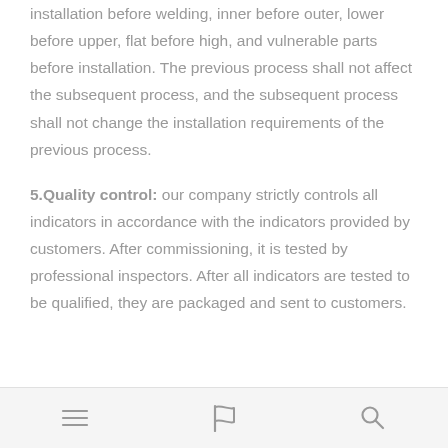installation before welding, inner before outer, lower before upper, flat before high, and vulnerable parts before installation. The previous process shall not affect the subsequent process, and the subsequent process shall not change the installation requirements of the previous process.
5.Quality control: our company strictly controls all indicators in accordance with the indicators provided by customers. After commissioning, it is tested by professional inspectors. After all indicators are tested to be qualified, they are packaged and sent to customers.
[menu icon] [flag icon] [search icon]